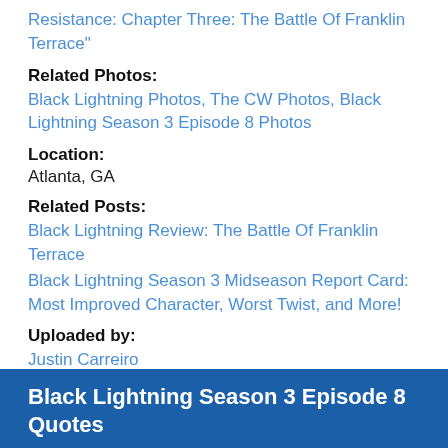Resistance: Chapter Three: The Battle Of Franklin Terrace"
Related Photos:
Black Lightning Photos, The CW Photos, Black Lightning Season 3 Episode 8 Photos
Location:
Atlanta, GA
Related Posts:
Black Lightning Review: The Battle Of Franklin Terrace
Black Lightning Season 3 Midseason Report Card: Most Improved Character, Worst Twist, and More!
Uploaded by:
Justin Carreiro
Uploaded:
December 02, 2019
Show Comments
Black Lightning Season 3 Episode 8 Quotes